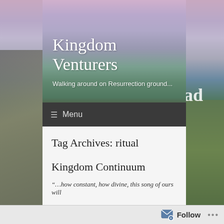Kingdom Venturers
Walking around on Resurrection ground...
≡ Menu
Tag Archives: ritual
Kingdom Continuum
“…how constant, how divine, this song of ours will
Follow ...